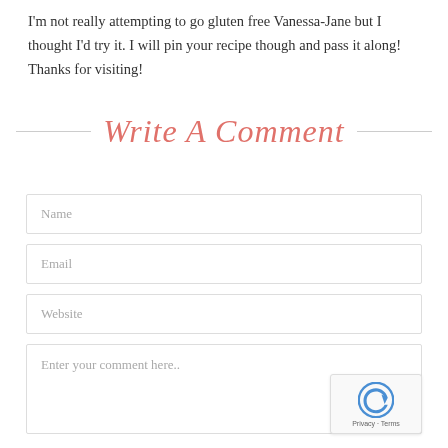I'm not really attempting to go gluten free Vanessa-Jane but I thought I'd try it. I will pin your recipe though and pass it along! Thanks for visiting!
Write A Comment
[Figure (screenshot): Comment form with Name, Email, Website, and Enter your comment here.. fields, with reCAPTCHA badge]